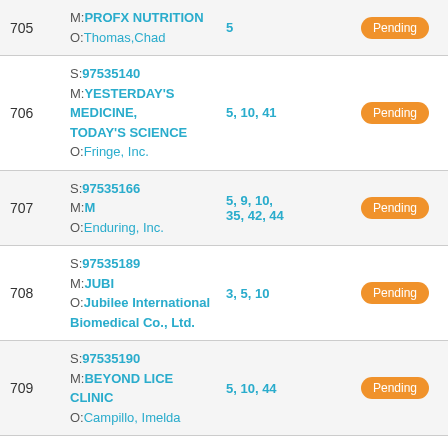| # | Info | Classes | Status |
| --- | --- | --- | --- |
| 705 | M:PROFX NUTRITION
O:Thomas,Chad | 5 | Pending |
| 706 | S:97535140
M:YESTERDAY'S MEDICINE, TODAY'S SCIENCE
O:Fringe, Inc. | 5, 10, 41 | Pending |
| 707 | S:97535166
M:M
O:Enduring, Inc. | 5, 9, 10, 35, 42, 44 | Pending |
| 708 | S:97535189
M:JUBI
O:Jubilee International Biomedical Co., Ltd. | 3, 5, 10 | Pending |
| 709 | S:97535190
M:BEYOND LICE CLINIC
O:Campillo, Imelda | 5, 10, 44 | Pending |
| 710 | S:97535227
M:RHYTHM
O:rhythm care, llc | 3, 5, 10, 25, 44 | Pending |
| 711 | S:97535267
M:EOHILIA
O:Kip Pharma Biomedical Co. | 5 | Pending |